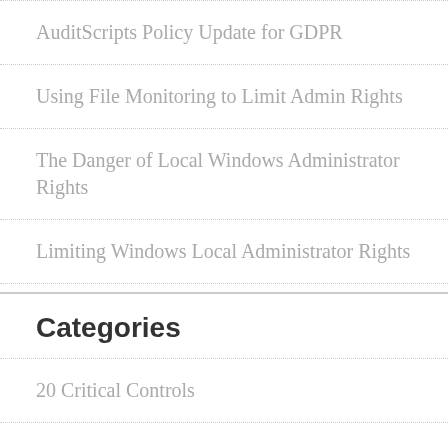AuditScripts Policy Update for GDPR
Using File Monitoring to Limit Admin Rights
The Danger of Local Windows Administrator Rights
Limiting Windows Local Administrator Rights
Categories
20 Critical Controls